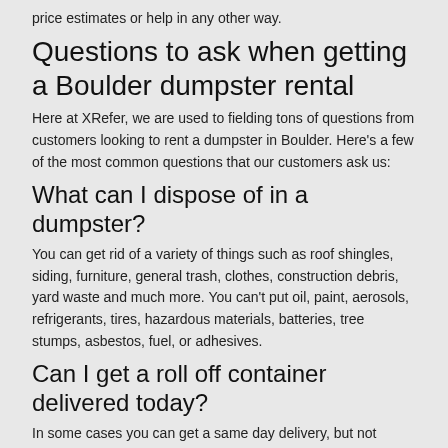price estimates or help in any other way.
Questions to ask when getting a Boulder dumpster rental
Here at XRefer, we are used to fielding tons of questions from customers looking to rent a dumpster in Boulder. Here's a few of the most common questions that our customers ask us:
What can I dispose of in a dumpster?
You can get rid of a variety of things such as roof shingles, siding, furniture, general trash, clothes, construction debris, yard waste and much more. You can't put oil, paint, aerosols, refrigerants, tires, hazardous materials, batteries, tree stumps, asbestos, fuel, or adhesives.
Can I get a roll off container delivered today?
In some cases you can get a same day delivery, but not always. If you know that you will need a dumpster delivered in Boulder on a certain day, it's always a good idea to schedule it a few weeks in advance to make sure there is availability.
How much does it cost to rent a dumpster in